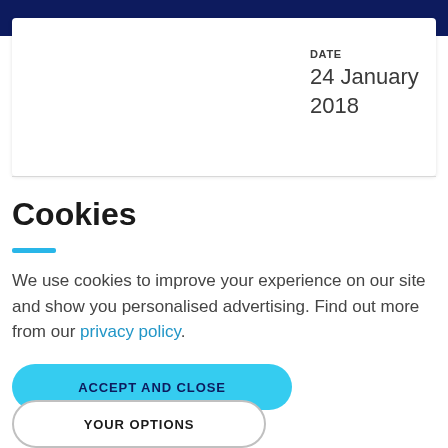DATE
24 January 2018
Cookies
We use cookies to improve your experience on our site and show you personalised advertising. Find out more from our privacy policy.
ACCEPT AND CLOSE
YOUR OPTIONS